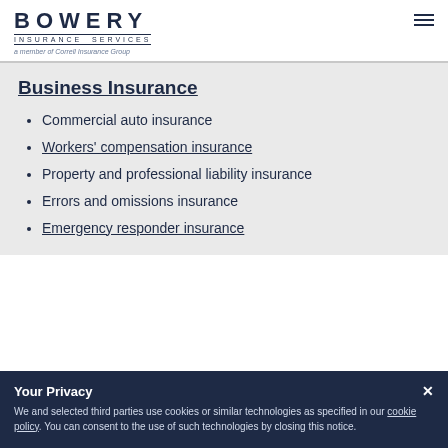[Figure (logo): Bowery Insurance Services logo — a member of Correll Insurance Group]
Business Insurance
Commercial auto insurance
Workers' compensation insurance
Property and professional liability insurance
Errors and omissions insurance
Emergency responder insurance
Your Privacy
We and selected third parties use cookies or similar technologies as specified in our cookie policy. You can consent to the use of such technologies by closing this notice.